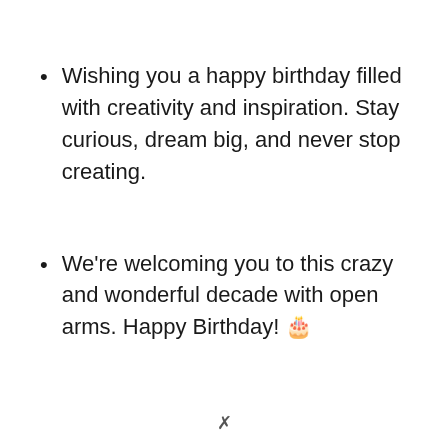Wishing you a happy birthday filled with creativity and inspiration. Stay curious, dream big, and never stop creating.
We're welcoming you to this crazy and wonderful decade with open arms. Happy Birthday! 🎂